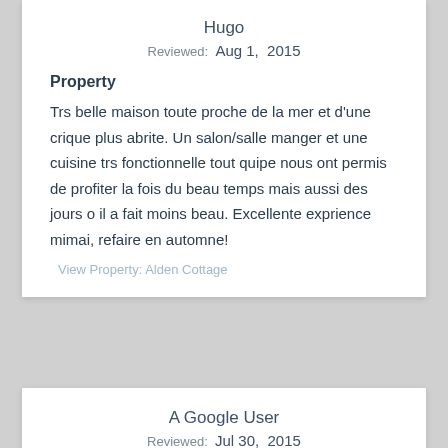Hugo
Reviewed: Aug 1, 2015
Property
Trs belle maison toute proche de la mer et d'une crique plus abrite. Un salon/salle manger et une cuisine trs fonctionnelle tout quipe nous ont permis de profiter la fois du beau temps mais aussi des jours o il a fait moins beau. Excellente exprience mimai, refaire en automne!
View Property: Alden Cottage
A Google User
Reviewed: Jul 30, 2015
Property
Nauset beach is a five minute walk down beach road which